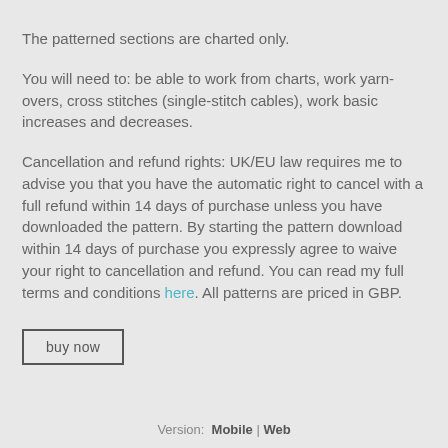The patterned sections are charted only.
You will need to: be able to work from charts, work yarn-overs, cross stitches (single-stitch cables), work basic increases and decreases.
Cancellation and refund rights: UK/EU law requires me to advise you that you have the automatic right to cancel with a full refund within 14 days of purchase unless you have downloaded the pattern. By starting the pattern download within 14 days of purchase you expressly agree to waive your right to cancellation and refund. You can read my full terms and conditions here. All patterns are priced in GBP.
buy now
Version:  Mobile | Web